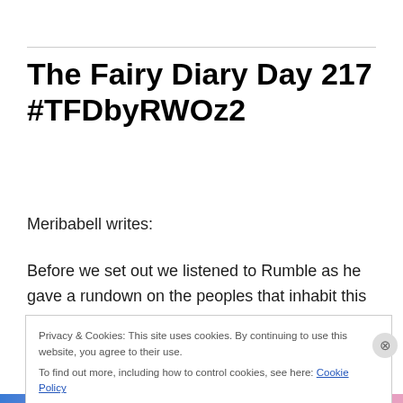The Fairy Diary Day 217 #TFDbyRWOz2
Meribabell writes:
Before we set out we listened to Rumble as he gave a rundown on the peoples that inhabit this city now in view. When he mentioned it was inhabited and belonged to elves, Noralei drew back with concern.
Privacy & Cookies: This site uses cookies. By continuing to use this website, you agree to their use.
To find out more, including how to control cookies, see here: Cookie Policy
Close and accept